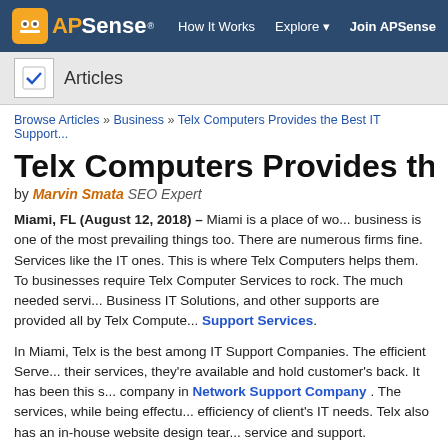APSense | How It Works | Explore | Join APSense
Articles
Browse Articles » Business » Telx Computers Provides the Best IT Support...
Telx Computers Provides the Best IT S
by Marvin Smata SEO Expert
Miami, FL (August 12, 2018) – Miami is a place of wo... business is one of the most prevailing things too. There are numerous firms fine. Services like the IT ones. This is where Telx Computers helps them. To businesses require Telx Computer Services to rock. The much needed servi... Business IT Solutions, and other supports are provided all by Telx Compute... Support Services.
In Miami, Telx is the best among IT Support Companies. The efficient Serve... their services, they're available and hold customer's back. It has been this s... company in Network Support Company . The services, while being effectu... efficiency of client's IT needs. Telx also has an in-house website design tear... service and support.
Proactive firewall network security is provided. Server monitoring is done alo...